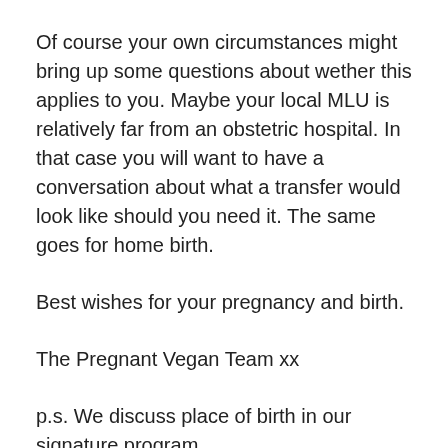Of course your own circumstances might bring up some questions about wether this applies to you. Maybe your local MLU is relatively far from an obstetric hospital. In that case you will want to have a conversation about what a transfer would look like should you need it. The same goes for home birth.
Best wishes for your pregnancy and birth.
The Pregnant Vegan Team xx
p.s. We discuss place of birth in our signature program
References: